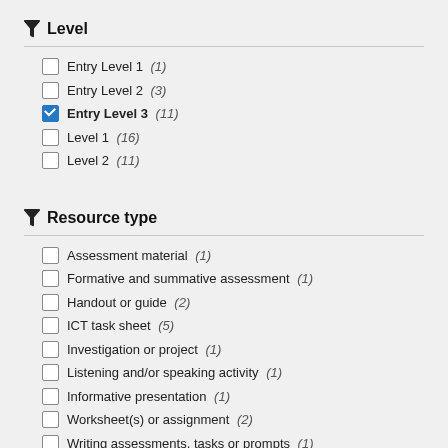Level
Entry Level 1 (1)
Entry Level 2 (3)
Entry Level 3 (11)
Level 1 (16)
Level 2 (11)
Resource type
Assessment material (1)
Formative and summative assessment (1)
Handout or guide (2)
ICT task sheet (5)
Investigation or project (1)
Listening and/or speaking activity (1)
Informative presentation (1)
Worksheet(s) or assignment (2)
Writing assessments, tasks or prompts (1)
Poster (1)
Quiz (1)
Reading comprehension (2)
Interactive whiteboard (2)